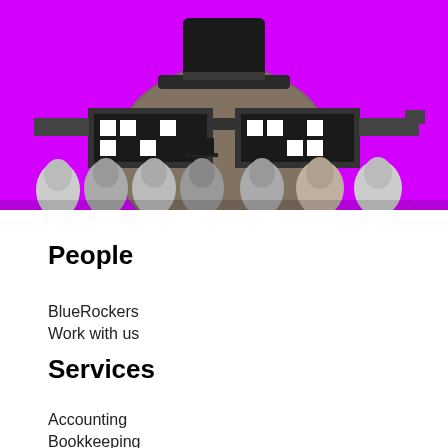[Figure (illustration): A surreal collage image on a vivid magenta/purple background. A large stone or textured bell-shaped figure wearing a top hat and oversized pixel-art sunglasses (8-bit style). Below the large figure, a row of vintage black-and-white portrait photographs of people from the late 19th/early 20th century, one also wearing a top hat.]
People
BlueRockers
Work with us
Services
Accounting
Bookkeeping